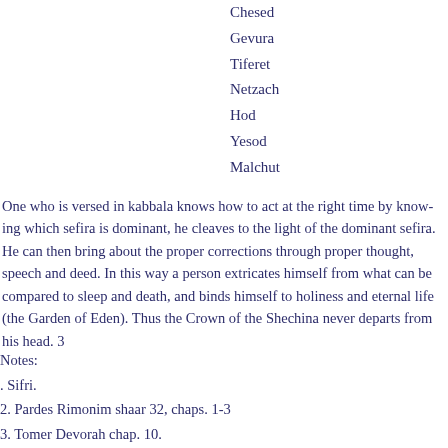Chesed
Gevura
Tiferet
Netzach
Hod
Yesod
Malchut
One who is versed in kabbala knows how to act at the right time by knowing which sefira is dominant, he cleaves to the light of the dominant sefira. He can then bring about the proper corrections through proper thought, speech and deed. In this way a person extricates himself from what can be compared to sleep and death, and binds himself to holiness and eternal life (the Garden of Eden). Thus the Crown of the Shechina never departs from his head. 3
Notes:
. Sifri.
2. Pardes Rimonim shaar 32, chaps. 1-3
3. Tomer Devorah chap. 10.